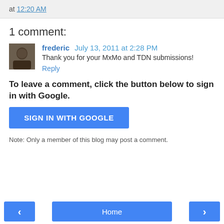at 12:20 AM
1 comment:
frederic  July 13, 2011 at 2:28 PM
Thank you for your MxMo and TDN submissions!
Reply
To leave a comment, click the button below to sign in with Google.
SIGN IN WITH GOOGLE
Note: Only a member of this blog may post a comment.
< Home >